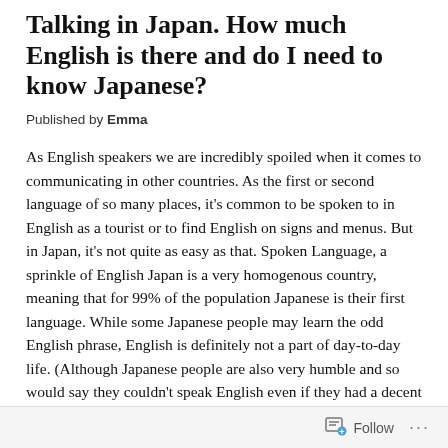Talking in Japan. How much English is there and do I need to know Japanese?
Published by Emma
As English speakers we are incredibly spoiled when it comes to communicating in other countries. As the first or second language of so many places, it's common to be spoken to in English as a tourist or to find English on signs and menus. But in Japan, it's not quite as easy as that. Spoken Language, a sprinkle of English Japan is a very homogenous country, meaning that for 99% of the population Japanese is their first language. While some Japanese people may learn the odd English phrase, English is definitely not a part of day-to-day life. (Although Japanese people are also very humble and so would say they couldn't speak English even if they had a decent grasp of it!) The exceptions to the rule are
Follow